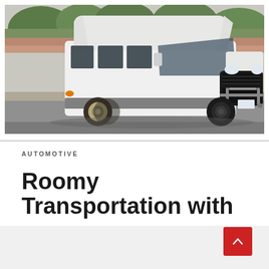[Figure (photo): A white high-roof Ford Transit minibus/van driving on a road, photographed from a front-left angle. The van has tinted side windows, orange marker lights, a bull bar on the front, and dual rear wheels. Background shows trees, shrubs, brick walls, and street lamps.]
AUTOMOTIVE
Roomy Transportation with